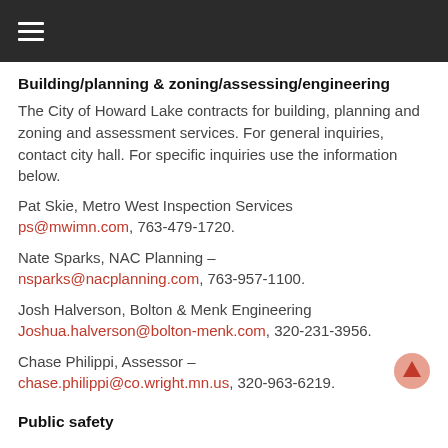≡
Building/planning & zoning/assessing/engineering
The City of Howard Lake contracts for building, planning and zoning and assessment services. For general inquiries, contact city hall. For specific inquiries use the information below.
Pat Skie, Metro West Inspection Services
ps@mwimn.com, 763-479-1720.
Nate Sparks, NAC Planning –
nsparks@nacplanning.com, 763-957-1100.
Josh Halverson, Bolton & Menk Engineering
Joshua.halverson@bolton-menk.com, 320-231-3956.
Chase Philippi, Assessor –
chase.philippi@co.wright.mn.us, 320-963-6219.
Public safety